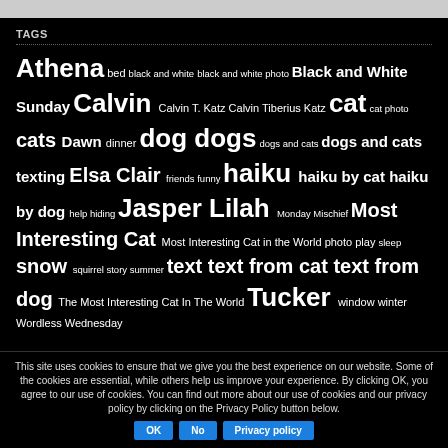TAGS
Athena bed black and white black and white photo Black and White Sunday Calvin Calvin T. Katz Calvin Tiberius Katz cat cat photo cats Dawn dinner dog dogs dogs and cats dogs and cats texting Elsa Clair friends funny haiku haiku by cat haiku by dog help hiding Jasper Lilah Monday Mischief Most Interesting Cat Most Interesting Cat in the World photo play sleep snow squirrel story summer text text from cat text from dog The Most Interesting Cat In The World Tucker window winter Wordless Wednesday
This site uses cookies to ensure that we give you the best experience on our website. Some of the cookies are essential, while others help us improve your experience. By clicking OK, you agree to our use of cookies. You can find out more about our use of cookies and our privacy policy by clicking on the Privacy Policy button below.